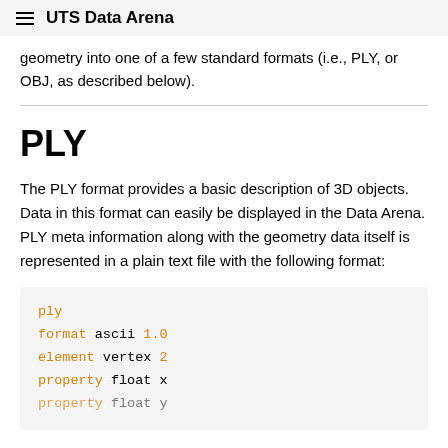UTS Data Arena
geometry into one of a few standard formats (i.e., PLY, or OBJ, as described below).
PLY
The PLY format provides a basic description of 3D objects. Data in this format can easily be displayed in the Data Arena. PLY meta information along with the geometry data itself is represented in a plain text file with the following format:
ply
format ascii 1.0
element vertex 2
property float x
property float y